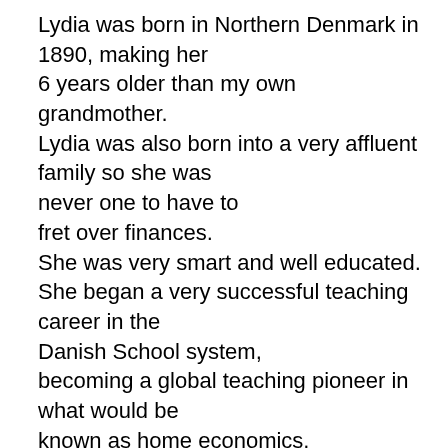Lydia was born in Northern Denmark in 1890, making her 6 years older than my own grandmother. Lydia was also born into a very affluent family so she was never one to have to fret over finances. She was very smart and well educated. She began a very successful teaching career in the Danish School system, becoming a global teaching pioneer in what would be known as home economics.

Teachers were highly esteemed in Danish society and Lydia enjoyed the stability of both career and lifestyle. By her mid thirties, a fellow teacher had asked for her hand in marriage, a union which most felt was a natural progression.